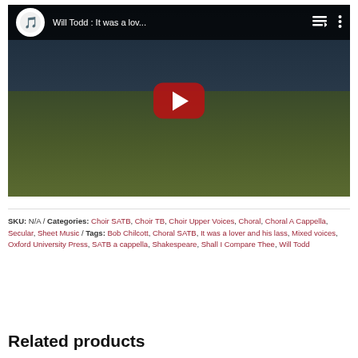[Figure (screenshot): YouTube video embed thumbnail showing 'Will Todd : It was a lov...' with a dark landscape background (green field, dark sky, hills) and a red YouTube play button in the center. Top bar shows YouTube channel logo circle, video title, playlist icon, and options icon.]
SKU: N/A / Categories: Choir SATB, Choir TB, Choir Upper Voices, Choral, Choral A Cappella, Secular, Sheet Music / Tags: Bob Chilcott, Choral SATB, It was a lover and his lass, Mixed voices, Oxford University Press, SATB a cappella, Shakespeare, Shall I Compare Thee, Will Todd
Related products